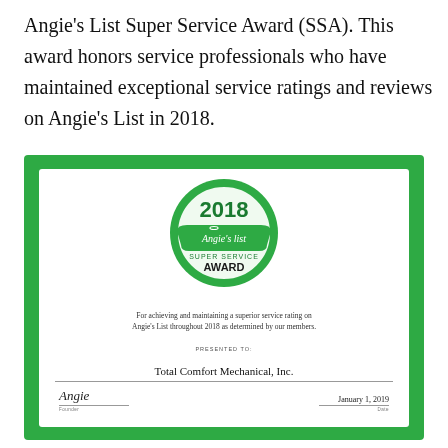Angie's List Super Service Award (SSA). This award honors service professionals who have maintained exceptional service ratings and reviews on Angie's List in 2018.
[Figure (illustration): Angie's List 2018 Super Service Award certificate presented to Total Comfort Mechanical, Inc., dated January 1, 2019. Features the Angie's List circular badge logo with green border, text about achieving superior service rating, a signature from the founder, and the date.]